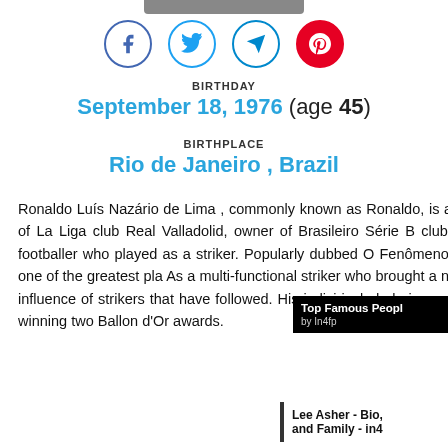[Figure (other): Social media share icons: Facebook, Twitter, Telegram, Pinterest]
BIRTHDAY
September 18, 1976 (age 45)
BIRTHPLACE
Rio de Janeiro , Brazil
Ronaldo Luís Nazário de Lima , commonly known as Ronaldo, is a Brazilian business owner, president of La Liga club Real Valladolid, owner of Brasileiro Série B club Cruzeiro and a retired professional footballer who played as a striker. Popularly dubbed O Fenômeno and also nicki widely considered as one of the greatest pla As a multi-functional striker who brought a ne the position, Ronaldo has been the influence of strikers that have followed. His indivi include being named FIFA World Player of the Y and winning two Ballon d'Or awards.
Top Famous Peopl by In4fp
Lee Asher - Bio, and Family - in4